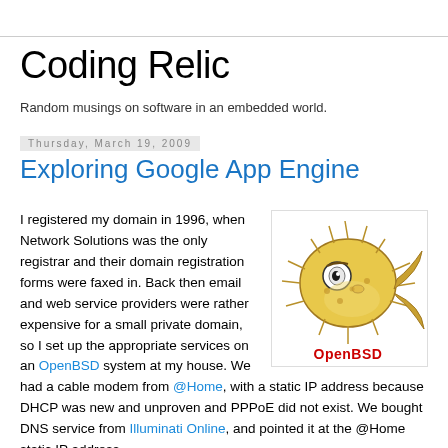Coding Relic
Random musings on software in an embedded world.
Thursday, March 19, 2009
Exploring Google App Engine
[Figure (illustration): OpenBSD pufferfish mascot illustration with 'OpenBSD' text in red below it]
I registered my domain in 1996, when Network Solutions was the only registrar and their domain registration forms were faxed in. Back then email and web service providers were rather expensive for a small private domain, so I set up the appropriate services on an OpenBSD system at my house. We had a cable modem from @Home, with a static IP address because DHCP was new and unproven and PPPoE did not exist. We bought DNS service from Illuminati Online, and pointed it at the @Home static IP address.